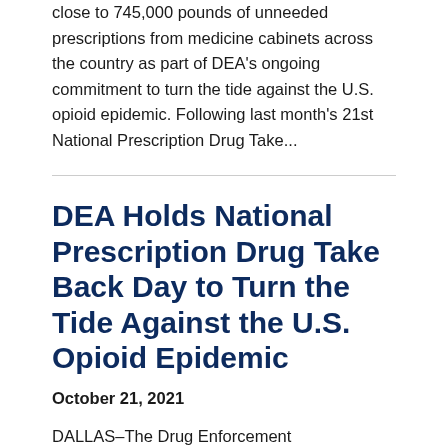close to 745,000 pounds of unneeded prescriptions from medicine cabinets across the country as part of DEA's ongoing commitment to turn the tide against the U.S. opioid epidemic. Following last month's 21st National Prescription Drug Take...
DEA Holds National Prescription Drug Take Back Day to Turn the Tide Against the U.S. Opioid Epidemic
October 21, 2021
DALLAS–The Drug Enforcement Administration will host its 21st National Prescription Drug Take Back Day on Saturday, October 23 from 10 a.m. to 2 p.m. This event offers free and anonymous disposal of unneeded medications at more than 4,000 local drop-